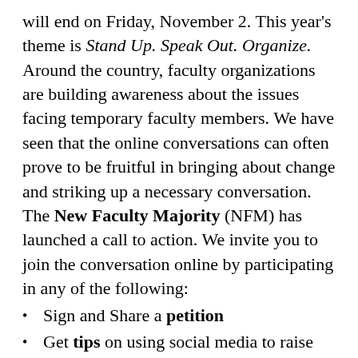will end on Friday, November 2. This year's theme is Stand Up. Speak Out. Organize. Around the country, faculty organizations are building awareness about the issues facing temporary faculty members. We have seen that the online conversations can often prove to be fruitful in bringing about change and striking up a necessary conversation. The New Faculty Majority (NFM) has launched a call to action. We invite you to join the conversation online by participating in any of the following:
Sign and Share a petition
Get tips on using social media to raise awareness
Follow the Campus Equity Week